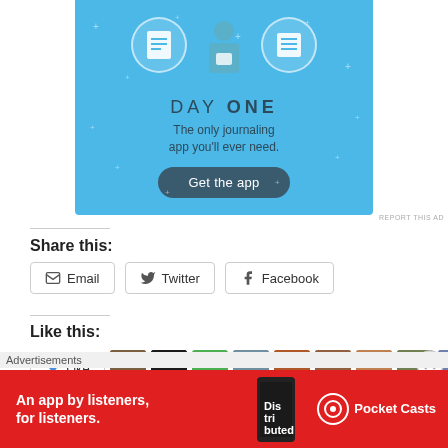[Figure (illustration): Day One journaling app advertisement banner with blue background, illustrated icons and person, title 'DAY ONE', subtitle 'The only journaling app you'll ever need.', and a 'Get the app' button]
REPORT THIS AD
Share this:
Email
Twitter
Facebook
Like this:
[Figure (screenshot): Like button and a row of user avatar thumbnail images]
Advertisements
[Figure (illustration): Pocket Casts advertisement banner: red background, 'An app by listeners, for listeners.' text, phone image, Pocket Casts logo]